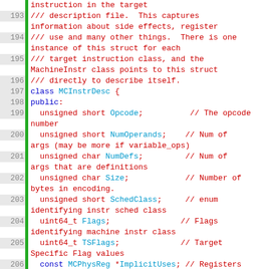[Figure (screenshot): C++ source code listing showing MCInstrDesc class definition with line numbers 193-211, syntax highlighted in monospace font. Comments in dark red, keywords in blue, identifiers in cyan/teal.]